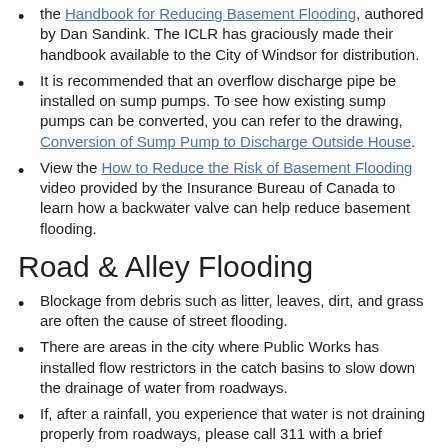the Handbook for Reducing Basement Flooding, authored by Dan Sandink. The ICLR has graciously made their handbook available to the City of Windsor for distribution.
It is recommended that an overflow discharge pipe be installed on sump pumps. To see how existing sump pumps can be converted, you can refer to the drawing, Conversion of Sump Pump to Discharge Outside House.
View the How to Reduce the Risk of Basement Flooding video provided by the Insurance Bureau of Canada to learn how a backwater valve can help reduce basement flooding.
Road & Alley Flooding
Blockage from debris such as litter, leaves, dirt, and grass are often the cause of street flooding.
There are areas in the city where Public Works has installed flow restrictors in the catch basins to slow down the drainage of water from roadways.
If, after a rainfall, you experience that water is not draining properly from roadways, please call 311 with a brief description (including the location) so we can relieve the flood as soon as possible.
Yard Flooding